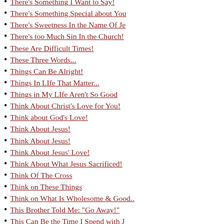There's Something I Want to Say!
There's Something Special about You
There's Sweetness In the Name Of Je
There's too Much Sin In the Church!
These Are Difficult Times!
These Three Words...
Things Can Be Alright!
Things In LIfe That Matter...
Things in My LIfe Aren't So Good
Think About Christ's Love for You!
Think about God's Love!
Think About Jesus!
Think About Jesus!
Think About Jesus' Love!
Think About What Jesus Sacrificed!
Think Of The Cross
Think on These Things
Think on What Is Wholesome & Good..
This Brother Told Me: "Go Away!"
This Can Be the Time I Spend with J
This Church?
This Father's Day...
This Fourth of July
This Generation Needs Jesus!
This LIfe God Gave to Us!
This Life We Have How Short It
This Life We Have...
This Load I Carry...
This Memorial Day
This One Thing I Surely Know!
This Past Year of 2015